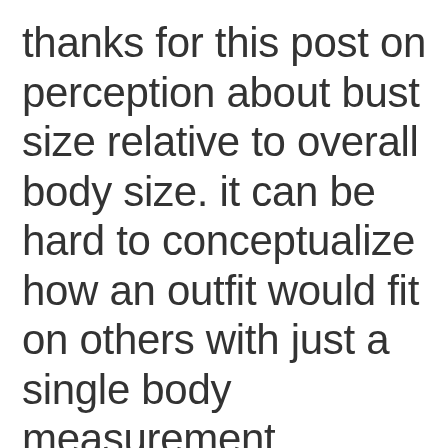thanks for this post on perception about bust size relative to overall body size. it can be hard to conceptualize how an outfit would fit on others with just a single body measurement.
i dress to accentuate or diminish the prominence of my bust depending on the outfit. i have tops that hang best with a vavoom push-up and others with a barely-there with the...